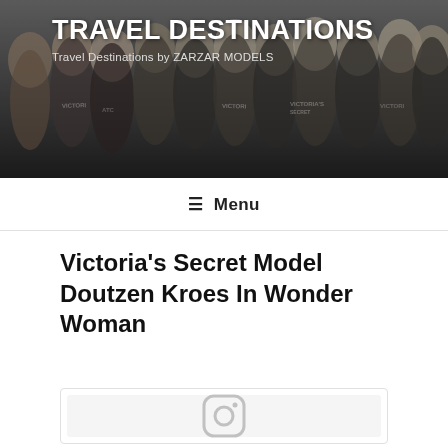TRAVEL DESTINATIONS
Travel Destinations by ZARZAR MODELS
≡ Menu
Victoria's Secret Model Doutzen Kroes In Wonder Woman
[Figure (screenshot): An embedded Instagram post placeholder showing the Instagram logo icon on a light grey background inside a card with a thin border.]